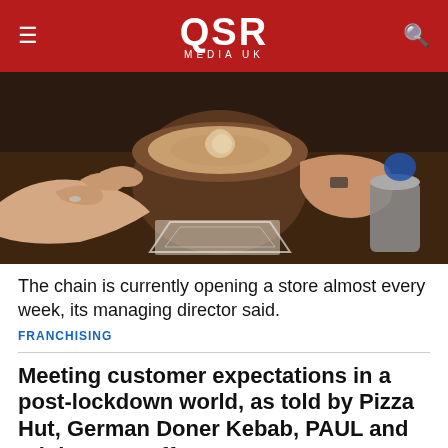QSR MEDIA UK
[Figure (photo): Close-up overhead photo of hands holding a latte art coffee cup on a dark table, with a milk jug and other cafe items in the background.]
The chain is currently opening a store almost every week, its managing director said.
FRANCHISING
Meeting customer expectations in a post-lockdown world, as told by Pizza Hut, German Doner Kebab, PAUL and Triple Two Coffee
[Figure (photo): Partial photo of a cafe or restaurant table scene, partially cropped at bottom of page.]